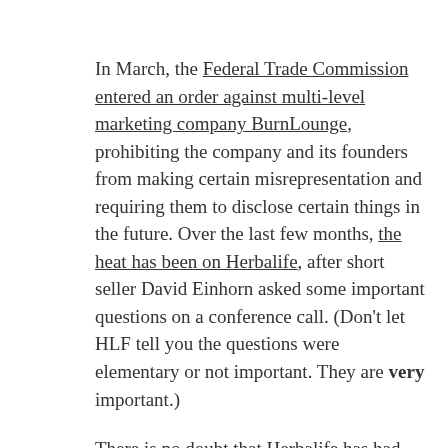In March, the Federal Trade Commission entered an order against multi-level marketing company BurnLounge, prohibiting the company and its founders from making certain misrepresentation and requiring them to disclose certain things in the future. Over the last few months, the heat has been on Herbalife, after short seller David Einhorn asked some important questions on a conference call. (Don't let HLF tell you the questions were elementary or not important. They are very important.)
There is no doubt that Herbalife has had much financial success over the years. It is the largest publicly traded MLM, and its stock price has increased greatly since 2007. But